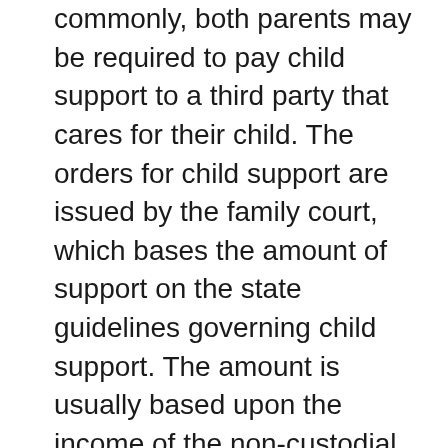commonly, both parents may be required to pay child support to a third party that cares for their child. The orders for child support are issued by the family court, which bases the amount of support on the state guidelines governing child support. The amount is usually based upon the income of the non-custodial parent, as well as the number of children. Other relevant matters, such as the income of the custodial parent and specific needs of children are also considered. Deviation from these guidelines is possible, though simply a high income of the custodial parent is not sufficient reason, because, by law, the children have the right to benefit from the incomes of both parents. A change in circumstances can result in an increase or decrease in the amount paid.